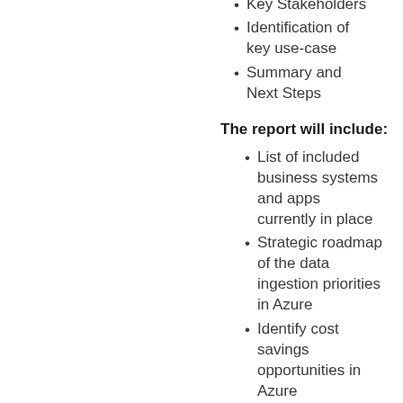Key Stakeholders
Identification of key use-case
Summary and Next Steps
The report will include:
List of included business systems and apps currently in place
Strategic roadmap of the data ingestion priorities in Azure
Identify cost savings opportunities in Azure
Estimated timeline, costs, resources required
High level Azure